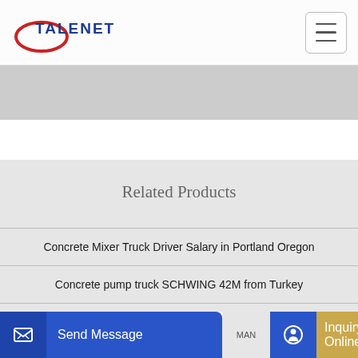TALENET
Related Products
Concrete Mixer Truck Driver Salary in Portland Oregon
Concrete pump truck SCHWING 42M from Turkey
Send Message
Inquiry Online